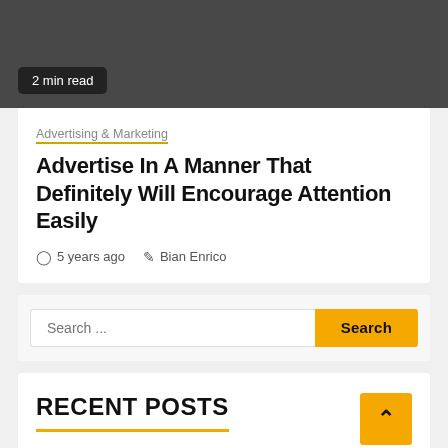[Figure (photo): Dark gray banner image area with a '2 min read' badge in the lower left]
2 min read
Advertising & Marketing
Advertise In A Manner That Definitely Will Encourage Attention Easily
5 years ago   Bian Enrico
Search ...
RECENT POSTS
SELLING CAR PARTS: IS IT A LUCRATIVE BUSINESS VENTURE?